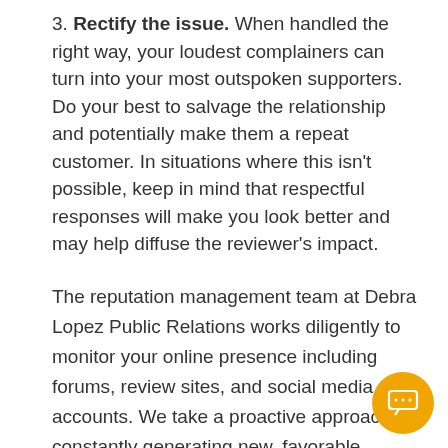3. Rectify the issue. When handled the right way, your loudest complainers can turn into your most outspoken supporters. Do your best to salvage the relationship and potentially make them a repeat customer. In situations where this isn't possible, keep in mind that respectful responses will make you look better and may help diffuse the reviewer's impact.
The reputation management team at Debra Lopez Public Relations works diligently to monitor your online presence including forums, review sites, and social media accounts. We take a proactive approach by constantly generating new, favorable content for your business, and reporting negative reviews with false information. We are also prepared